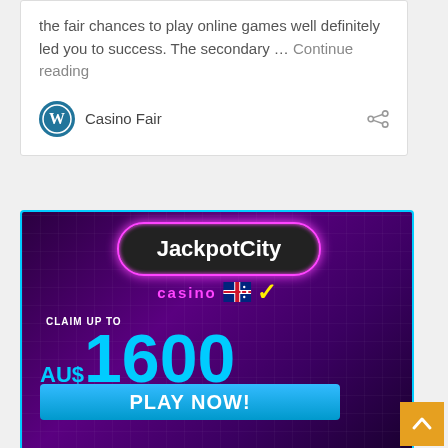the fair chances to play online games well definitely led you to success. The secondary … Continue reading
Casino Fair
[Figure (illustration): JackpotCity Casino advertisement banner with purple background, neon pink logo pill shape, 'CLAIM UP TO AU$1600' in cyan text, Australian flag with checkmark, and 'PLAY NOW!' cyan button]
[Figure (other): Orange back-to-top button with white upward arrow chevron in bottom right corner]